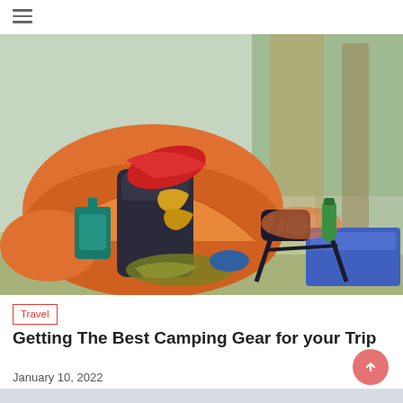[Figure (photo): Outdoor camping scene with orange tent, black backpack, red sleeping bag, yellow gloves, teal lantern, binoculars, folding chair, blue cooler, and green rope on grass in a wooded area]
Travel
Getting The Best Camping Gear for your Trip
January 10, 2022
[Figure (photo): Misty mountain landscape with hazy ridgelines fading into a light grey sky]